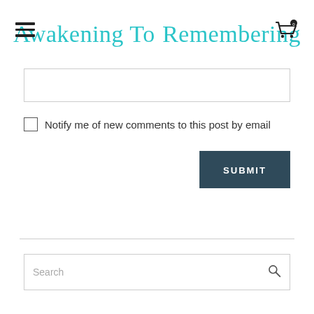Awakening To Remembering
[Figure (screenshot): Text input field (comment box), partially visible at top]
Notify me of new comments to this post by email
SUBMIT
Search